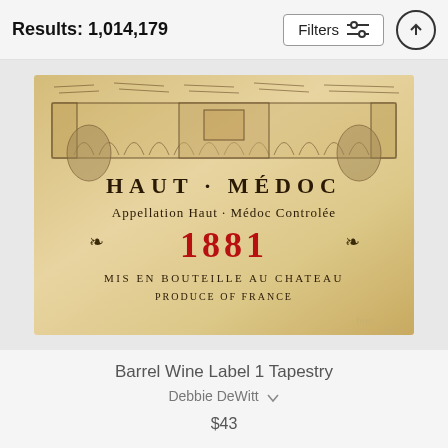Results: 1,014,179
[Figure (screenshot): Wine bottle label showing 'HAUT-MÉDOC, Appellation Haut-Médoc Controlée, 1881, MIS EN BOUTEILLE AU CHATEAU, PRODUCE OF FRANCE' on aged parchment background with chateau illustration at top. Watermark 'fine art' visible in bottom right.]
Barrel Wine Label 1 Tapestry
Debbie DeWitt
$43